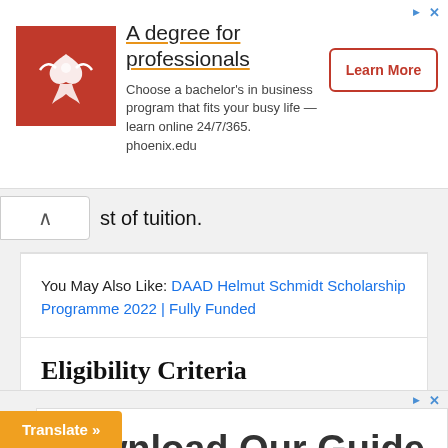[Figure (other): Advertisement banner for University of Phoenix: 'A degree for professionals' with bird logo, body text about bachelor's in business program, and 'Learn More' button]
st of tuition.
You May Also Like: DAAD Helmut Schmidt Scholarship Programme 2022 | Fully Funded
Eligibility Criteria
[Figure (other): Advertisement: Download Our Guide]
Translate »